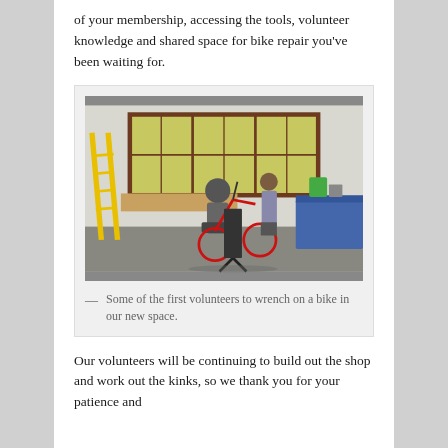of your membership, accessing the tools, volunteer knowledge and shared space for bike repair you've been waiting for.
[Figure (photo): Two volunteers working on a red bicycle on a repair stand inside a workshop space. A yellow ladder is visible on the left, large windows with frosted glass in the background, and a blue workbench with tools on the right.]
— Some of the first volunteers to wrench on a bike in our new space.
Our volunteers will be continuing to build out the shop and work out the kinks, so we thank you for your patience and